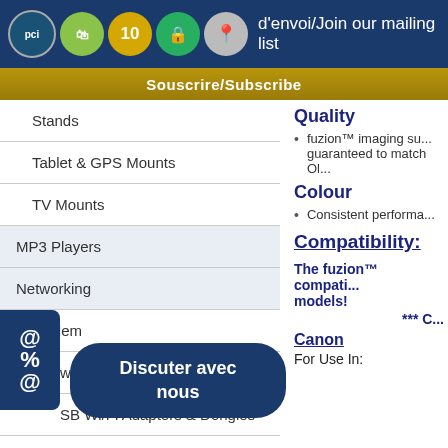d'envoi/Join our mailing list
Souscrire/Subscribe
Stands
Tablet & GPS Mounts
TV Mounts
MP3 Players
Networking
Modem
Switches
USB Wi/Fi Adapters & Dongles
Wireless
Point-of-Sales (POS)
Pri...
Pr...
PC Cases
Quality
fuzion™ imaging su... guaranteed to match Ol...
Colour
Consistent performa...
Compatibility:
The fuzion™ compati... models!
*** C...
Canon
For Use In: